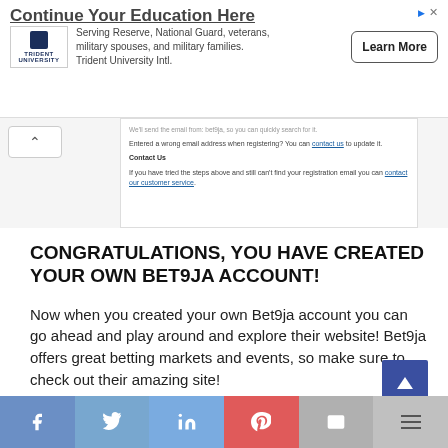[Figure (screenshot): Advertisement banner for Trident University Intl. with title 'Continue Your Education Here', logo, body text, and Learn More button]
[Figure (screenshot): Partial screenshot of a webpage showing help text about registration email, 'Contact Us' section, and a back/up arrow button on the left]
CONGRATULATIONS, YOU HAVE CREATED YOUR OWN BET9JA ACCOUNT!
Now when you created your own Bet9ja account you can go ahead and play around and explore their website! Bet9ja offers great betting markets and events, so make sure to check out their amazing site!
[Figure (infographic): Social sharing bar with Facebook, Twitter, LinkedIn, Pinterest, email, and more icons, plus a scroll-to-top button]